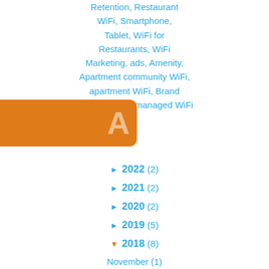Retention, Restaurant WiFi, Smartphone, Tablet, WiFi for Restaurants, WiFi Marketing, ads, Amenity, Apartment community WiFi, apartment WiFi, Brand Loyalty, Cloud managed WiFi
[Figure (other): Orange rounded banner/button partially visible on left side of page with a large semi-transparent letter A]
► 2022 (2)
► 2021 (2)
► 2020 (2)
► 2019 (5)
▼ 2018 (8)
November (1)
October (1)